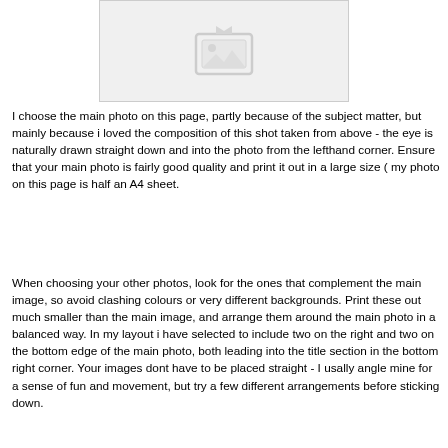[Figure (photo): Placeholder image box with a small image icon at the top center of the page]
I choose the main photo on this page, partly because of the subject matter, but mainly because i loved the composition of this shot taken from above - the eye is naturally drawn straight down and into the photo from the lefthand corner. Ensure that your main photo is fairly good quality and print it out in a large size ( my photo on this page is half an A4 sheet.
When choosing your other photos, look for the ones that complement the main image, so avoid clashing colours or very different backgrounds. Print these out much smaller than the main image, and arrange them around the main photo in a balanced way. In my layout i have selected to include two on the right and two on the bottom edge of the main photo, both leading into the title section in the bottom right corner. Your images dont have to be placed straight - I usally angle mine for a sense of fun and movement, but try a few different arrangements before sticking down.